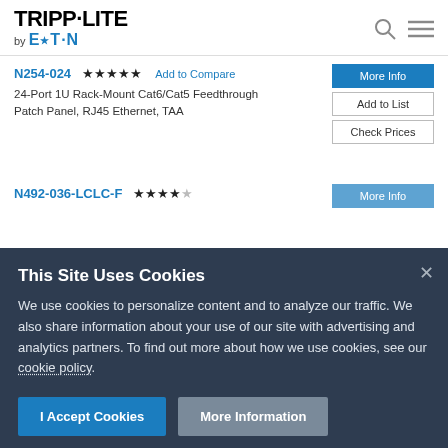[Figure (logo): Tripp-Lite by Eaton logo]
N254-024 ★★★★★ Add to Compare
24-Port 1U Rack-Mount Cat6/Cat5 Feedthrough Patch Panel, RJ45 Ethernet, TAA
More Info | Add to List | Check Prices
N492-036-LCLC-F ★★★★☆
This Site Uses Cookies
We use cookies to personalize content and to analyze our traffic. We also share information about your use of our site with advertising and analytics partners. To find out more about how we use cookies, see our cookie policy.
I Accept Cookies | More Information